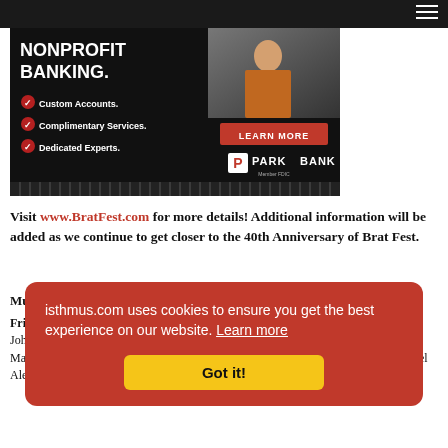[Figure (illustration): Park Bank nonprofit banking advertisement. Dark background with bold white text 'NONPROFIT BANKING.' and checkmarks for Custom Accounts, Complimentary Services, Dedicated Experts. Red 'LEARN MORE' button. Park Bank logo with Member FDIC. Person in orange jacket photo on right side.]
Visit www.BratFest.com for more details! Additional information will be added as we continue to get closer to the 40th Anniversary of Brat Fest.
Music schedule (as of May 19:
Friday: [text partially obscured by cookie overlay] ...thinkers noon, A[...] pm, Your Mom 4 pm, Mad City Funk 5 pm, John Masino Band 6 pm, Mighty Electric 7 pm, Grand Stage: Ree Morgan 1 pm, Marques Morel 2 pm, Autumn Reverie 3 pm, Rip 4 pm, Elizabeth Mary 5 pm, Michael Alexander & Big Whiskey 6 pm, Derek Jones 7 pm,
isthmus.com uses cookies to ensure you get the best experience on our website. Learn more
Got it!